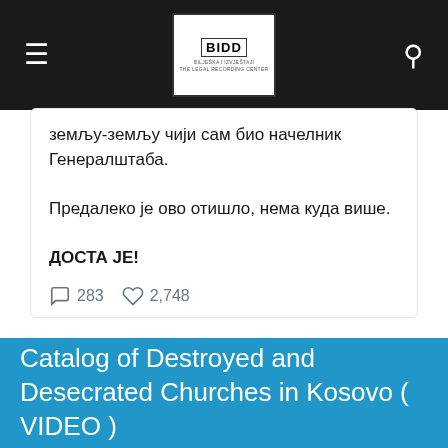BIDD
земљу-земљу чији сам био начелник Генералштаба.

Предалеко је ово отишло, нема куда више.

ДОСТА ЈЕ!
283   2,748
Dusko Lopandic Retweeted
SRBIJA CENTAR ... @Srbija_c... · 12h
rs.n1info.com/vesti/ponos-za...
Catalog of Destroyed and Desecrated Churches in Kosovo ( VIDEO )